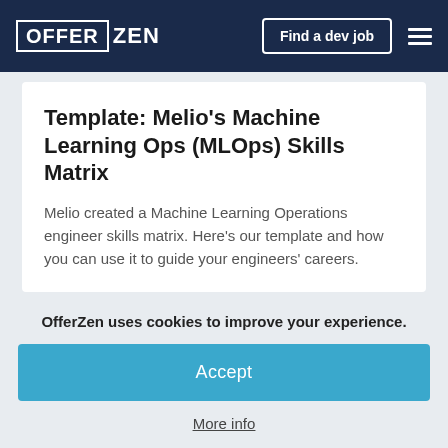OFFER ZEN  Find a dev job
Template: Melio’s Machine Learning Ops (MLOps) Skills Matrix
Melio created a Machine Learning Operations engineer skills matrix. Here’s our template and how you can use it to guide your engineers' careers.
OfferZen uses cookies to improve your experience.
Accept
More info